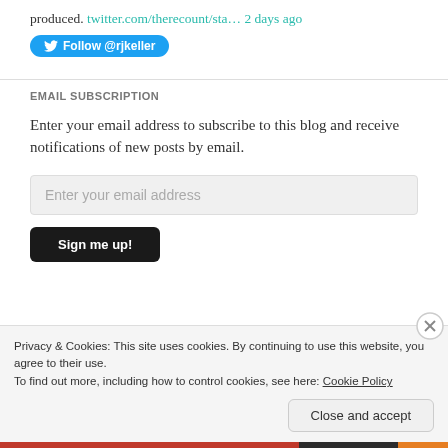produced. twitter.com/therecount/sta... 2 days ago
[Figure (other): Twitter Follow button for @rjkeller]
EMAIL SUBSCRIPTION
Enter your email address to subscribe to this blog and receive notifications of new posts by email.
Enter your email address
Sign me up!
Privacy & Cookies: This site uses cookies. By continuing to use this website, you agree to their use.
To find out more, including how to control cookies, see here: Cookie Policy
Close and accept